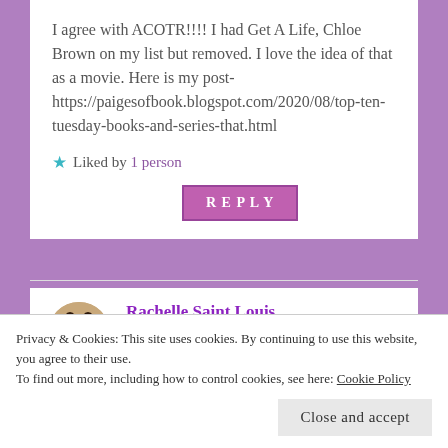I agree with ACOTR!!!! I had Get A Life, Chloe Brown on my list but removed. I love the idea of that as a movie. Here is my post- https://paigesofbook.blogspot.com/2020/08/top-ten-tuesday-books-and-series-that.html
★ Liked by 1 person
REPLY
Rachelle Saint Louis
August 18, 2020 at 3:23 pm
Privacy & Cookies: This site uses cookies. By continuing to use this website, you agree to their use.
To find out more, including how to control cookies, see here: Cookie Policy
Close and accept